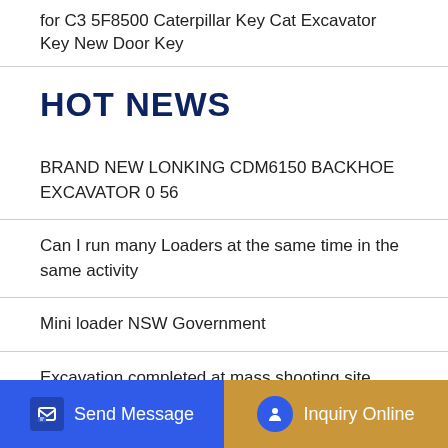for C3 5F8500 Caterpillar Key Cat Excavator Key New Door Key
HOT NEWS
BRAND NEW LONKING CDM6150 BACKHOE EXCAVATOR 0 56
Can I run many Loaders at the same time in the same activity
Mini loader NSW Government
Excavation completed at mass shooting site from Stalins Great
CAT 950E Wheel Loaders loaded in Shanghai China
Used Bobcat Backhoe Loaders for sale Machinio